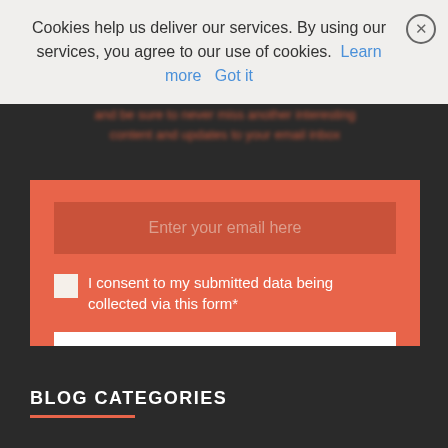Cookies help us deliver our services. By using our services, you agree to our use of cookies. Learn more Got it
Enter your email here
I consent to my submitted data being collected via this form*
SIGN UP NOW
we respect your privacy and take protecting it seriously
BLOG CATEGORIES